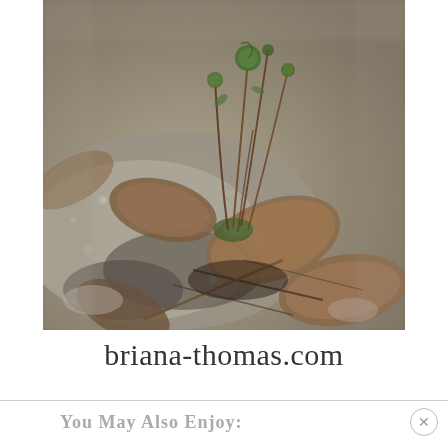[Figure (photo): Close-up nature photograph of young fern fronds (fiddleheads) emerging from among dry brown autumn leaves on a rocky, gravelly surface. The image is in muted, naturalistic tones with bokeh background.]
briana-thomas.com
You May Also Enjoy: